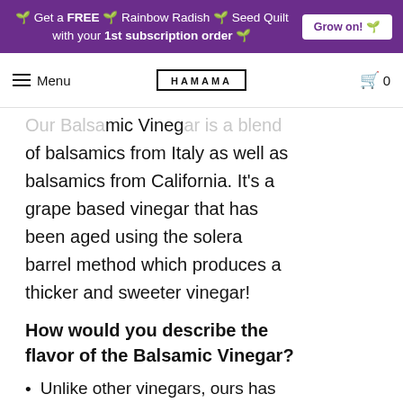🌱 Get a FREE 🌱 Rainbow Radish 🌱 Seed Quilt with your 1st subscription order 🌱 Grow on! 🌱
Menu | HAMAMA | 0
Our Balsamic Vinegar is a blend of balsamics from Italy as well as balsamics from California. It's a grape based vinegar that has been aged using the solera barrel method which produces a thicker and sweeter vinegar!
How would you describe the flavor of the Balsamic Vinegar?
Unlike other vinegars, ours has been reduced making it so the sugars are a little more